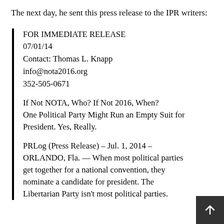The next day, he sent this press release to the IPR writers:
FOR IMMEDIATE RELEASE
07/01/14
Contact: Thomas L. Knapp
info@nota2016.org
352-505-0671
If Not NOTA, Who? If Not 2016, When? One Political Party Might Run an Empty Suit for President. Yes, Really.
PRLog (Press Release) – Jul. 1, 2014 – ORLANDO, Fla. — When most political parties get together for a national convention, they nominate a candidate for president. The Libertarian Party isn't most political parties.